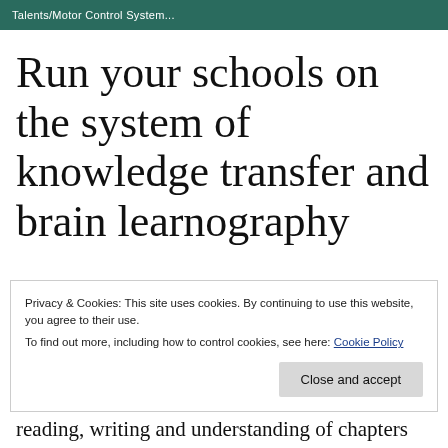Talents/Motor Control System...
Run your schools on the system of knowledge transfer and brain learnography
Privacy & Cookies: This site uses cookies. By continuing to use this website, you agree to their use.
To find out more, including how to control cookies, see here: Cookie Policy
reading, writing and understanding of chapters